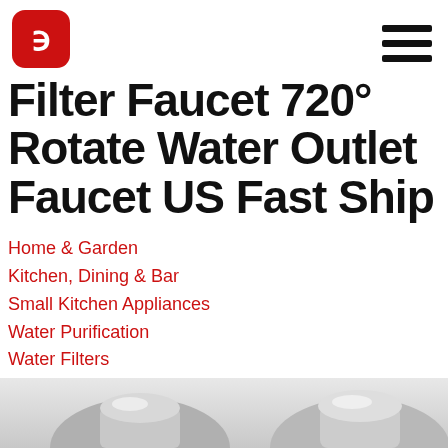[Figure (logo): Red rounded square logo with white letter B shape]
Filter Faucet 720° Rotate Water Outlet Faucet US Fast Ship
Home & Garden
Kitchen, Dining & Bar
Small Kitchen Appliances
Water Purification
Water Filters
2x Universal Splash Filter Faucet 720° Rotate Water Outlet Faucet US Fast Ship
[Figure (photo): Partial photo of a metallic faucet fixture at the bottom of the page]